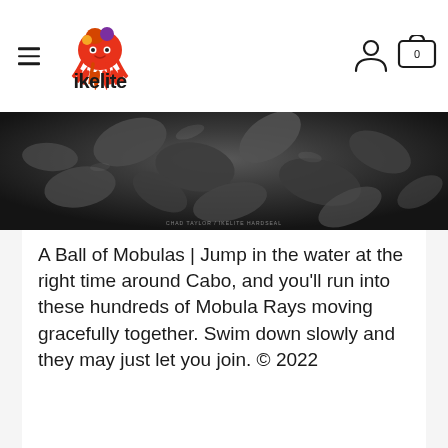[Figure (logo): Ikelite logo: colorful octopus graphic above bold text 'ikelite']
[Figure (photo): Underwater black and white photograph showing a ball/school of Mobula Rays swimming together, seen from below against a dark water background with light reflections]
A Ball of Mobulas | Jump in the water at the right time around Cabo, and you'll run into these hundreds of Mobula Rays moving gracefully together. Swim down slowly and they may just let you join. © 2022